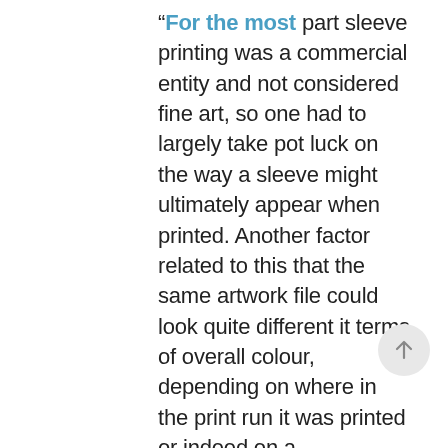“For the most part sleeve printing was a commercial entity and not considered fine art, so one had to largely take pot luck on the way a sleeve might ultimately appear when printed. Another factor related to this that the same artwork file could look quite different it terms of overall colour, depending on where in the print run it was printed or indeed on a subsequent reprint. The process aside from the physical manufacture varied from project to project as sometimes the brief came from the label, sometimes from the band or artist